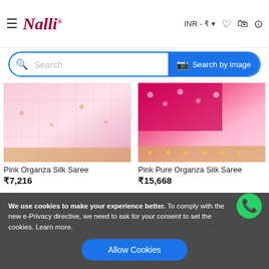Nalli — INR ₹
[Figure (screenshot): Search bar with 'Search' placeholder and 'Search by image' blue button]
[Figure (photo): Pink Organza Silk Saree product image]
Pink Organza Silk Saree
₹7,216
[Figure (photo): Pink Pure Organza Silk Saree product image]
Pink Pure Organza Silk Saree
₹15,668
Customer Who Liked This Also Liked
[Figure (photo): Bottom left saree product image]
[Figure (photo): Bottom right saree product image]
We use cookies to make your experience better. To comply with the new e-Privacy directive, we need to ask for your consent to set the cookies. Learn more.
Allow Cookies